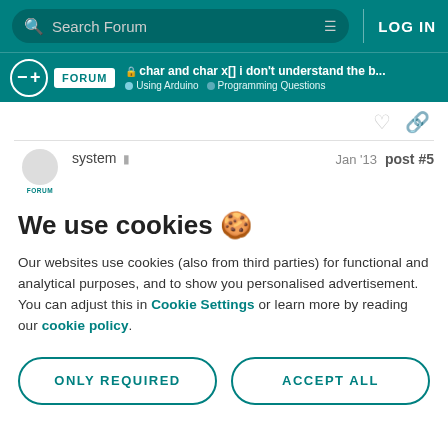Search Forum | LOG IN
char and char x[] i don't understand the b... | Using Arduino | Programming Questions
system  Jan '13  post #5
We use cookies 🍪
Our websites use cookies (also from third parties) for functional and analytical purposes, and to show you personalised advertisement. You can adjust this in Cookie Settings or learn more by reading our cookie policy.
ONLY REQUIRED
ACCEPT ALL